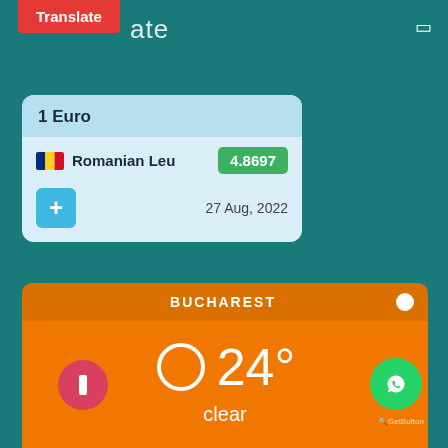[Figure (screenshot): Mobile app screenshot showing currency exchange rate and weather widget]
Translate
ate
1 Euro
Romanian Leu  4.8697
27 Aug, 2022
Exchange Rate: EUR
BUCHAREST
24°
clear